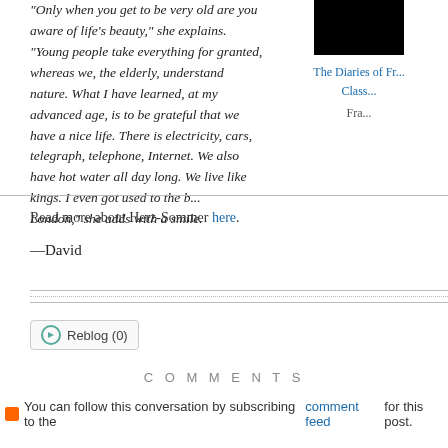"Only when you get to be very old are you aware of life's beauty," she explains. "Young people take everything for granted, whereas we, the elderly, understand nature. What I have learned, at my advanced age, is to be grateful that we have a nice life. There is electricity, cars, telegraph, telephone, Internet. We also have hot water all day long. We live like kings. I even got used to the b... London," she adds with a smile.
[Figure (photo): Partially visible book cover image (black square) with sidebar links: The Diaries of Fr..., Class..., Fra...]
Read more about Herz-Sommer here.
—David
Reblog (0)
COMMENTS
You can follow this conversation by subscribing to the comment feed for this post.